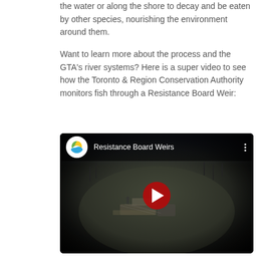the water or along the shore to decay and be eaten by other species, nourishing the environment around them.
Want to learn more about the process and the GTA's river systems? Here is a super video to see how the Toronto & Region Conservation Authority monitors fish through a Resistance Board Weir:
[Figure (screenshot): YouTube video thumbnail showing 'Resistance Board Weirs' — dark aerial fisheye-lens photograph of a river weir structure at dusk, with bare winter trees in the background. The YouTube interface shows the TRCA logo, the video title 'Resistance Board Weirs', a three-dot menu, and a large red play button in the center.]